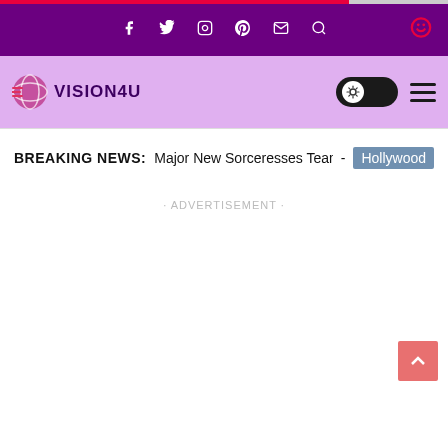VISION4U website header with social icons: Facebook, Twitter, Instagram, Pinterest, Email, Search
BREAKING NEWS: Major New Sorceresses Team - Hollywood